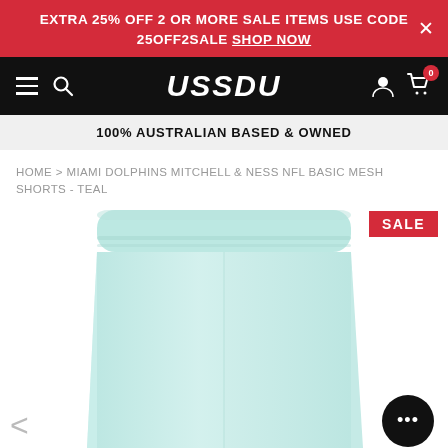EXTRA 25% OFF 2 OR MORE SALE ITEMS USE CODE 25OFF2SALE SHOP NOW
[Figure (screenshot): USSDU website navigation bar with hamburger menu, search icon, USSDU logo, user icon, and cart icon showing 0 items]
100% AUSTRALIAN BASED & OWNED
HOME > MIAMI DOLPHINS MITCHELL & NESS NFL BASIC MESH SHORTS - TEAL
[Figure (photo): Teal/light mint colored mesh athletic shorts (Miami Dolphins Mitchell & Ness NFL Basic Mesh Shorts) on white background, with elastic waistband visible at top. SALE badge in red top right corner.]